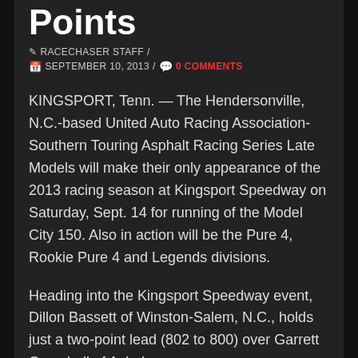Points
✎ RACECHASER STAFF /
📅 SEPTEMBER 10, 2013 / 💬 0 COMMENTS
KINGSPORT, Tenn. — The Hendersonville, N.C.-based United Auto Racing Association-Southern Touring Asphalt Racing Series Late Models will make their only appearance of the 2013 racing season at Kingsport Speedway on Saturday, Sept. 14 for running of the Model City 150. Also in action will be the Pure 4, Rookie Pure 4 and Legends divisions.
Heading into the Kingsport Speedway event, Dillon Bassett of Winston-Salem, N.C., holds just a two-point lead (802 to 800) over Garrett Campbell of Asheboro